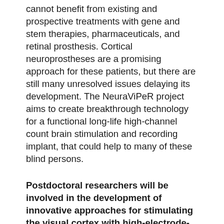cannot benefit from existing and prospective treatments with gene and stem therapies, pharmaceuticals, and retinal prosthesis. Cortical neuroprostheses are a promising approach for these patients, but there are still many unresolved issues delaying its development. The NeuraViPeR project aims to create breakthrough technology for a functional long-life high-channel count brain stimulation and recording implant, that could help to many of these blind persons.
Postdoctoral researchers will be involved in the development of innovative approaches for stimulating the visual cortex with high-electrode-count flexible microelectrode arrays, in the design of a bioinspired encoder optimized for a cortical visual neuroprosthesis, and in the creation of adaptive machine learning algorithms for a new brain-computer interface technology. Furthermore, they will collaborate in the framework of a clinical trial designed to study the electrical parameters needed for eliciting visual perceptions through